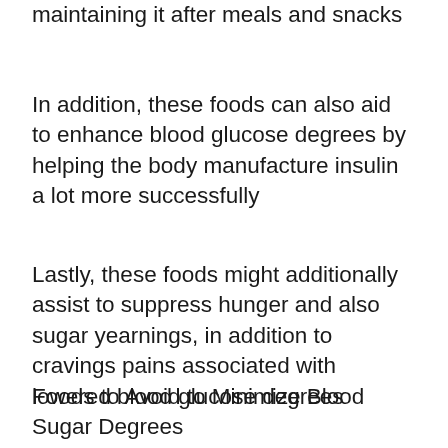maintaining it after meals and snacks
In addition, these foods can also aid to enhance blood glucose degrees by helping the body manufacture insulin a lot more successfully
Lastly, these foods might additionally assist to suppress hunger and also sugar yearnings, in addition to cravings pains associated with lowered blood glucose degrees
Foods to Avoid to Minimize Blood Sugar Degrees